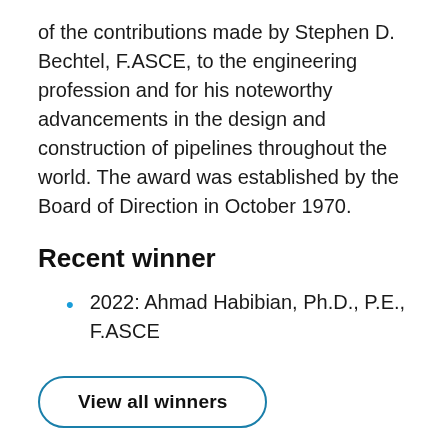of the contributions made by Stephen D. Bechtel, F.ASCE, to the engineering profession and for his noteworthy advancements in the design and construction of pipelines throughout the world. The award was established by the Board of Direction in October 1970.
Recent winner
2022: Ahmad Habibian, Ph.D., P.E., F.ASCE
View all winners